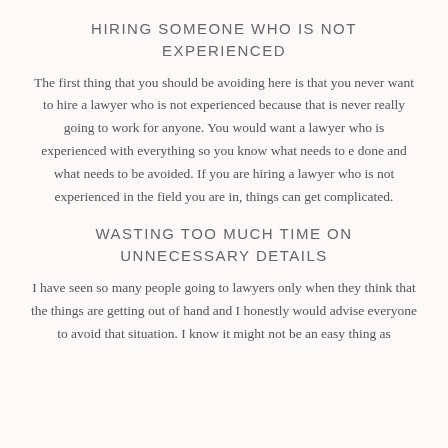HIRING SOMEONE WHO IS NOT EXPERIENCED
The first thing that you should be avoiding here is that you never want to hire a lawyer who is not experienced because that is never really going to work for anyone. You would want a lawyer who is experienced with everything so you know what needs to e done and what needs to be avoided. If you are hiring a lawyer who is not experienced in the field you are in, things can get complicated.
WASTING TOO MUCH TIME ON UNNECESSARY DETAILS
I have seen so many people going to lawyers only when they think that the things are getting out of hand and I honestly would advise everyone to avoid that situation. I know it might not be an easy thing as